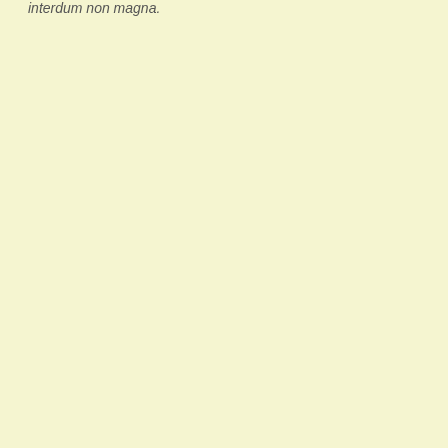interdum non magna.
October 25th, 2009 | Category: beekeeping
open mesh floor assembly instructions
here's a pdf of the assembly instructions fo…
Open Mesh Floor
national roof to follow…
October 23rd, 2009 | Category: beekeeping
national hive brood box assembly instructions
assembly instructions for our flat pack national hive… upload the rest later and make a right side… there…
Brood Box and Super